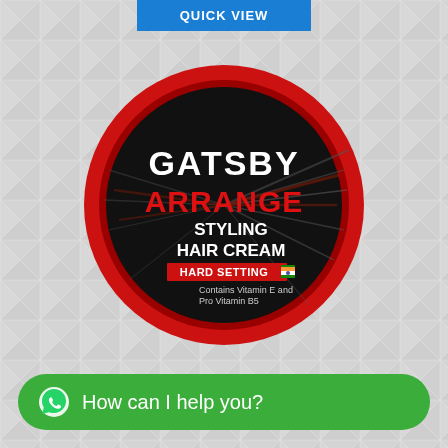QUICK VIEW
[Figure (photo): Gatsby Arrange Styling Hair Cream Hard Setting product in a round red container with black label showing the brand name GATSBY, product name ARRANGE, STYLING HAIR CREAM, HARD SETTING with Indian flag, Contains Vitamin E and Pro Vitamin B5]
How can I help you?